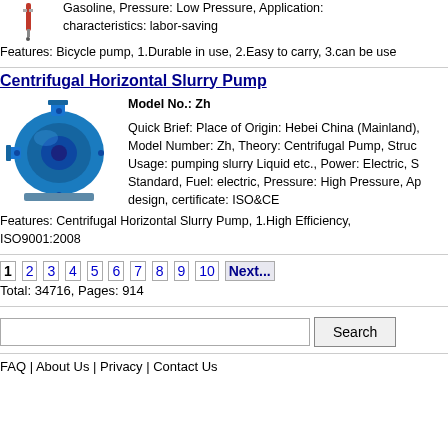[Figure (photo): Small thumbnail image of a bicycle pump (red/silver)]
Gasoline, Pressure: Low Pressure, Application: characteristics: labor-saving
Features: Bicycle pump, 1.Durable in use, 2.Easy to carry, 3.can be use
Centrifugal Horizontal Slurry Pump
[Figure (photo): Blue centrifugal horizontal slurry pump]
Model No.: Zh

Quick Brief: Place of Origin: Hebei China (Mainland), Model Number: Zh, Theory: Centrifugal Pump, Struc Usage: pumping slurry Liquid etc., Power: Electric, S Standard, Fuel: electric, Pressure: High Pressure, Ap design, certificate: ISO&CE
Features: Centrifugal Horizontal Slurry Pump, 1.High Efficiency, ISO9001:2008
1 2 3 4 5 6 7 8 9 10 Next...
Total: 34716, Pages: 914
Search
FAQ | About Us | Privacy | Contact Us